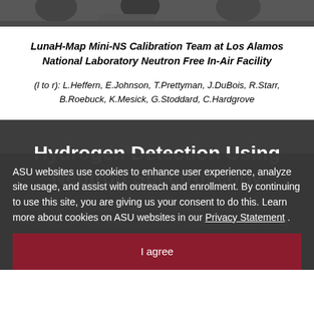[Figure (photo): Partial photo strip showing people at the Los Alamos National Laboratory Neutron Free In-Air Facility]
LunaH-Map Mini-NS Calibration Team at Los Alamos National Laboratory Neutron Free In-Air Facility
(l to r): L.Heffern, E.Johnson, T.Prettyman, J.DuBois, R.Starr, B.Roebuck, K.Mesick, G.Stoddard, C.Hardgrove
Hydrogen Detection Using Neutron Spectroscopy
...high-energy radiation doesn't interact with the atmosphere, so these particles constantly bombard the lunar surface, interacting with the regolith (e.g. rocks and soils) to producing neutrons. As these